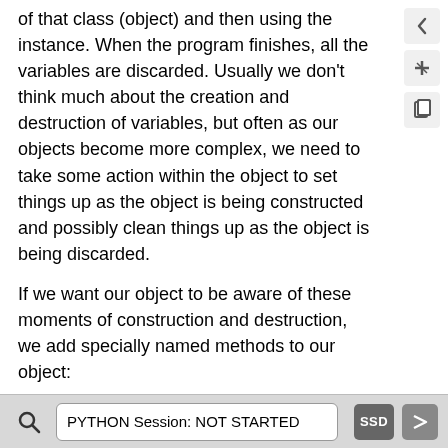of that class (object) and then using the instance. When the program finishes, all the variables are discarded. Usually we don't think much about the creation and destruction of variables, but often as our objects become more complex, we need to take some action within the object to set things up as the object is being constructed and possibly clean things up as the object is being discarded.
If we want our object to be aware of these moments of construction and destruction, we add specially named methods to our object:
Code 14.9.1 (Python)
%%python3
PYTHON Session: NOT STARTED